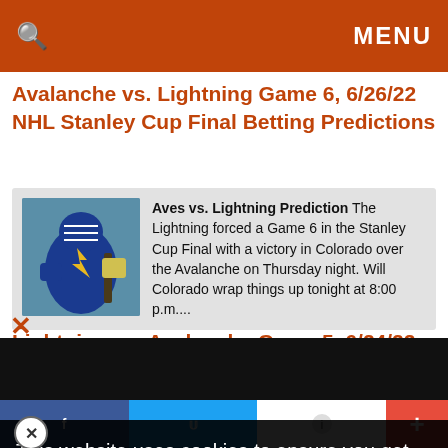MENU
Avalanche vs. Lightning Game 6, 6/26/22 NHL Stanley Cup Final Betting Predictions
[Figure (photo): Hockey goalie (Tampa Bay Lightning) in blue jersey making a save, shown in a card with article snippet]
Aves vs. Lightning Prediction The Lightning forced a Game 6 in the Stanley Cup Final with a victory in Colorado over the Avalanche on Thursday night. Will Colorado wrap things up tonight at 8:00 p.m....
Lightning vs. Avalanche Game 5, 6/24/22 NHL Stanley Cup Final Betting Predictions
[Figure (screenshot): Cookie consent banner overlay: This website uses cookies to ensure you get the best experience on our website]
This website uses cookies to ensure you get the best experience on our website
[Figure (infographic): Advertisement banner: The perfect gift, 35% OFF + FREE SHIPPING]
+ social share bar